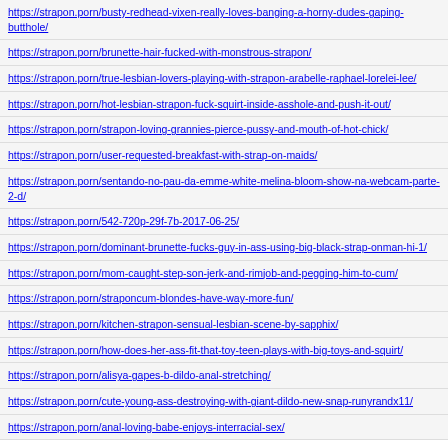https://strapon.porn/busty-redhead-vixen-really-loves-banging-a-horny-dudes-gaping-butthole/
https://strapon.porn/brunette-hair-fucked-with-monstrous-strapon/
https://strapon.porn/true-lesbian-lovers-playing-with-strapon-arabelle-raphael-lorelei-lee/
https://strapon.porn/hot-lesbian-strapon-fuck-squirt-inside-asshole-and-push-it-out/
https://strapon.porn/strapon-loving-grannies-pierce-pussy-and-mouth-of-hot-chick/
https://strapon.porn/user-requested-breakfast-with-strap-on-maids/
https://strapon.porn/sentando-no-pau-da-emme-white-melina-bloom-show-na-webcam-parte-2-d/
https://strapon.porn/542-720p-29f-7b-2017-06-25/
https://strapon.porn/dominant-brunette-fucks-guy-in-ass-using-big-black-strap-onman-hi-1/
https://strapon.porn/mom-caught-step-son-jerk-and-rimjob-and-pegging-him-to-cum/
https://strapon.porn/straponcum-blondes-have-way-more-fun/
https://strapon.porn/kitchen-strapon-sensual-lesbian-scene-by-sapphix/
https://strapon.porn/how-does-her-ass-fit-that-toy-teen-plays-with-big-toys-and-squirt/
https://strapon.porn/alisya-gapes-b-dildo-anal-stretching/
https://strapon.porn/cute-young-ass-destroying-with-giant-dildo-new-snap-runyrandx11/
https://strapon.porn/anal-loving-babe-enjoys-interracial-sex/